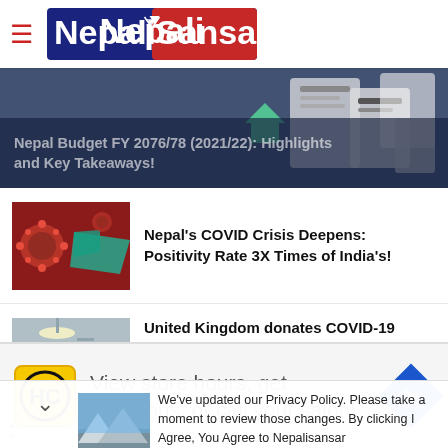Nepali Sansar
[Figure (screenshot): Nepal Budget FY 2076/78 (2021/22): Highlights and Key Takeaways! - banner image with budget documents]
Nepal Budget FY 2076/78 (2021/22): Highlights and Key Takeaways!
[Figure (photo): COVID virus illustration with Nepal map]
Nepal's COVID Crisis Deepens: Positivity Rate 3X Times of India's!
[Figure (photo): Hospital medical equipment/ICU photo]
United Kingdom donates COVID-19 combative medical equipment
We've updated our Privacy Policy. Please take a moment to review those changes. By clicking I Agree, You Agree to Nepalisansar
View store hours, get directions, or call your salon!